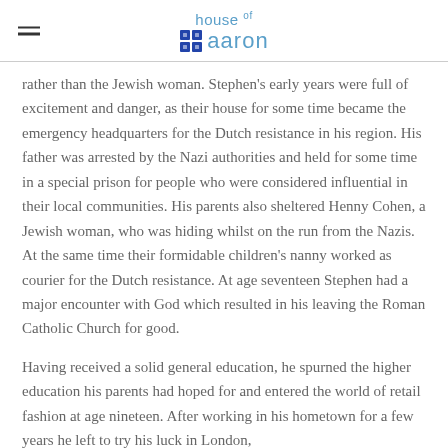[Figure (logo): House of Aaron logo with hamburger menu icon on the left. The logo shows 'house of' in smaller text above 'aaron' in larger text, with a small grid icon beside 'aaron'. All in light blue color.]
rather than the Jewish woman. Stephen's early years were full of excitement and danger, as their house for some time became the emergency headquarters for the Dutch resistance in his region. His father was arrested by the Nazi authorities and held for some time in a special prison for people who were considered influential in their local communities. His parents also sheltered Henny Cohen, a Jewish woman, who was hiding whilst on the run from the Nazis. At the same time their formidable children's nanny worked as courier for the Dutch resistance. At age seventeen Stephen had a major encounter with God which resulted in his leaving the Roman Catholic Church for good.
Having received a solid general education, he spurned the higher education his parents had hoped for and entered the world of retail fashion at age nineteen. After working in his hometown for a few years he left to try his luck in London,